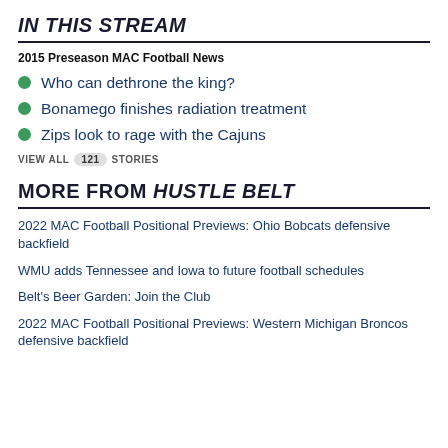IN THIS STREAM
2015 Preseason MAC Football News
Who can dethrone the king?
Bonamego finishes radiation treatment
Zips look to rage with the Cajuns
VIEW ALL 121 STORIES
MORE FROM HUSTLE BELT
2022 MAC Football Positional Previews: Ohio Bobcats defensive backfield
WMU adds Tennessee and Iowa to future football schedules
Belt's Beer Garden: Join the Club
2022 MAC Football Positional Previews: Western Michigan Broncos defensive backfield